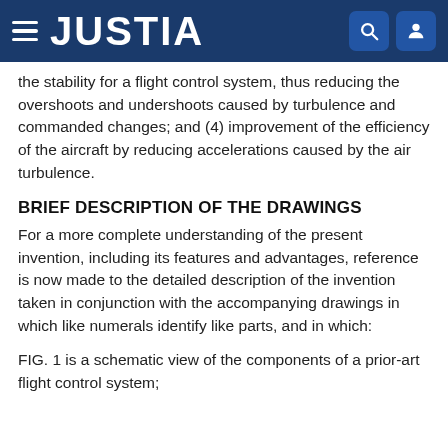JUSTIA
the stability for a flight control system, thus reducing the overshoots and undershoots caused by turbulence and commanded changes; and (4) improvement of the efficiency of the aircraft by reducing accelerations caused by the air turbulence.
BRIEF DESCRIPTION OF THE DRAWINGS
For a more complete understanding of the present invention, including its features and advantages, reference is now made to the detailed description of the invention taken in conjunction with the accompanying drawings in which like numerals identify like parts, and in which:
FIG. 1 is a schematic view of the components of a prior-art flight control system;